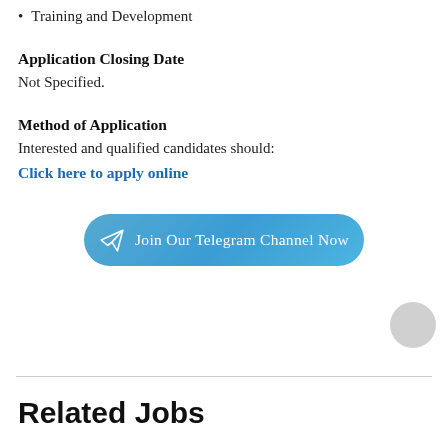Training and Development
Application Closing Date
Not Specified.
Method of Application
Interested and qualified candidates should:
Click here to apply online
[Figure (other): Telegram channel join button with airplane icon and text 'Join Our Telegram Channel Now']
[Figure (other): Small grey circle button on right side]
Related Jobs